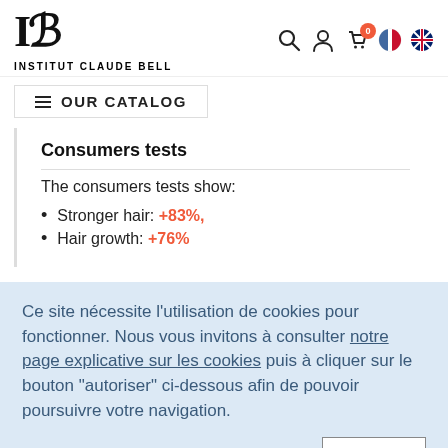INSTITUT CLAUDE BELL
OUR CATALOG
Consumers tests
The consumers tests show:
Stronger hair: +83%,
Hair growth: +76%
Ce site nécessite l'utilisation de cookies pour fonctionner. Nous vous invitons à consulter notre page explicative sur les cookies puis à cliquer sur le bouton "autoriser" ci-dessous afin de pouvoir poursuivre votre navigation.